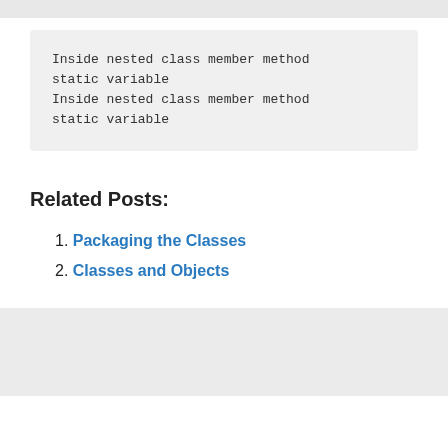[Figure (screenshot): Top gray bar strip at the top of the page]
Inside nested class member method
static variable
Inside nested class member method
static variable
Related Posts:
1. Packaging the Classes
2. Classes and Objects